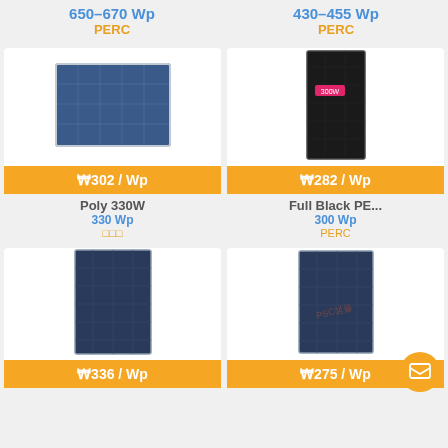650–670 Wp
PERC
430–455 Wp
PERC
[Figure (photo): Poly 330W solar panel photo]
₩302 / Wp
Poly 330W
330 Wp
□□□
[Figure (photo): Full Black PERC solar panel photo with 300W label]
₩282 / Wp
Full Black PE...
300 Wp
PERC
[Figure (photo): Mono solar panel photo]
₩336 / Wp
[Figure (photo): Small solar panel photo]
₩275 / Wp